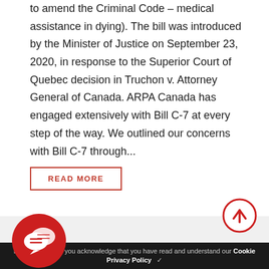to amend the Criminal Code – medical assistance in dying). The bill was introduced by the Minister of Justice on September 23, 2020, in response to the Superior Court of Quebec decision in Truchon v. Attorney General of Canada. ARPA Canada has engaged extensively with Bill C-7 at every step of the way. We outlined our concerns with Bill C-7 through...
READ MORE
[Figure (illustration): Red circular chat/speech bubble icon]
[Figure (illustration): Red and white circular scroll-to-top arrow button]
By using this site, you acknowledge that you have read and understand our Cookie Privacy Policy ✓